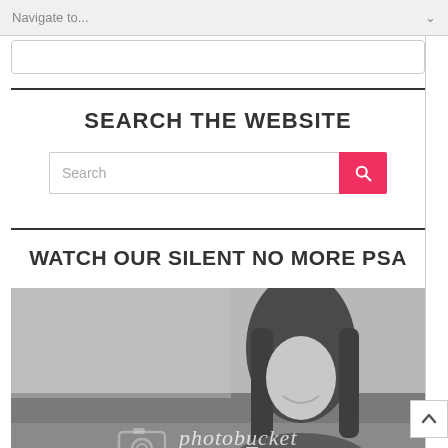Navigate to...
SEARCH THE WEBSITE
[Figure (screenshot): Search input box with pink/red search button containing a magnifying glass icon]
WATCH OUR SILENT NO MORE PSA
[Figure (photo): Black and white photo of a young girl with long dark hair smiling outdoors in a field, with Photobucket watermark overlay showing camera icon, 'photobucket' text, and 'host. store. share.' tagline]